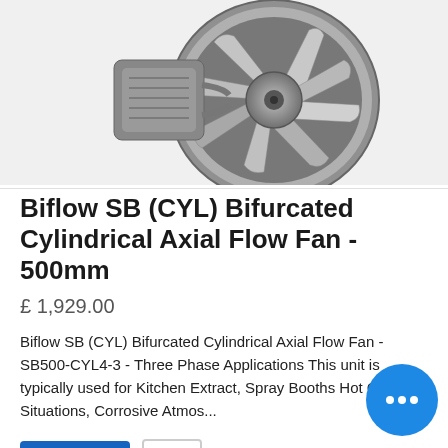[Figure (photo): Photograph of a Biflow SB (CYL) Bifurcated Cylindrical Axial Flow Fan - 500mm, showing the fan blades and cylindrical housing in grey/silver tones]
Biflow SB (CYL) Bifurcated Cylindrical Axial Flow Fan - 500mm
£ 1,929.00
Biflow SB (CYL) Bifurcated Cylindrical Axial Flow Fan - SB500-CYL4-3 - Three Phase Applications This unit is typically used for Kitchen Extract, Spray Booths Hot Gas Situations, Corrosive Atmos...